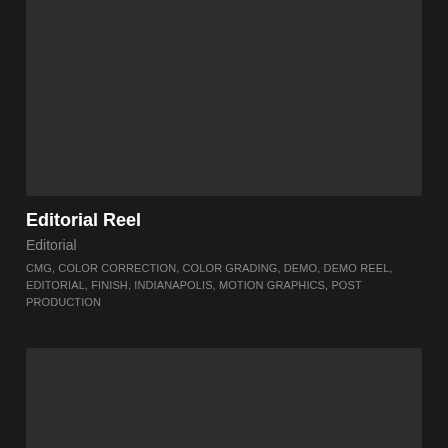[Figure (other): Dark video thumbnail placeholder block at the top of the page]
Editorial Reel
Editorial
CMG, COLOR CORRECTION, COLOR GRADING, DEMO, DEMO REEL, EDITORIAL, FINISH, INDIANAPOLIS, MOTION GRAPHICS, POST PRODUCTION
[Figure (other): Dark video thumbnail placeholder block at the bottom of the page]